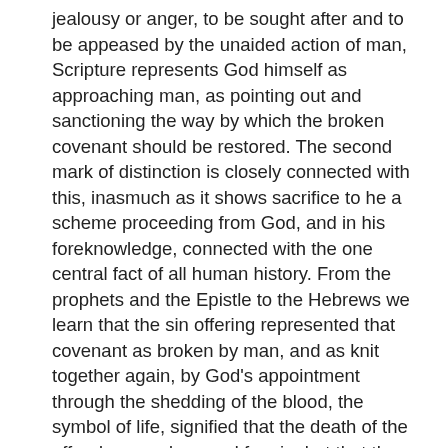jealousy or anger, to be sought after and to be appeased by the unaided action of man, Scripture represents God himself as approaching man, as pointing out and sanctioning the way by which the broken covenant should be restored. The second mark of distinction is closely connected with this, inasmuch as it shows sacrifice to he a scheme proceeding from God, and in his foreknowledge, connected with the one central fact of all human history. From the prophets and the Epistle to the Hebrews we learn that the sin offering represented that covenant as broken by man, and as knit together again, by God's appointment through the shedding of the blood, the symbol of life, signified that the death of the offender was deserved for sin, but that the death of the victim was accepted for his death by the ordinance of God's mercy. Beyond all doubt the sin offering distinctly witnessed that sin existed in man. that the "wages of that sin was death," and that God had provided an atonement by the vicarious suffering of an appointed victim. The